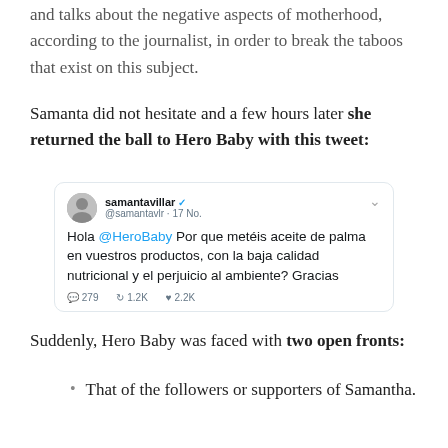and talks about the negative aspects of motherhood, according to the journalist, in order to break the taboos that exist on this subject.
Samanta did not hesitate and a few hours later she returned the ball to Hero Baby with this tweet:
[Figure (screenshot): Tweet from samantavillar (@samantavlr, 17 No.) saying: Hola @HeroBaby Por que metéis aceite de palma en vuestros productos, con la baja calidad nutricional y el perjuicio al ambiente? Gracias. Stats: 279 replies, 1.2K retweets, 2.2K likes.]
Suddenly, Hero Baby was faced with two open fronts:
That of the followers or supporters of Samantha.